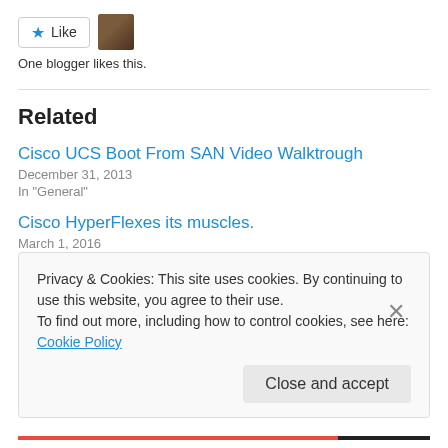[Figure (other): Like button with star icon and user avatar thumbnail]
One blogger likes this.
Related
Cisco UCS Boot From SAN Video Walktrough
December 31, 2013
In "General"
Cisco HyperFlexes its muscles.
March 1, 2016
In "HyperFlex"
Privacy & Cookies: This site uses cookies. By continuing to use this website, you agree to their use.
To find out more, including how to control cookies, see here: Cookie Policy
Close and accept